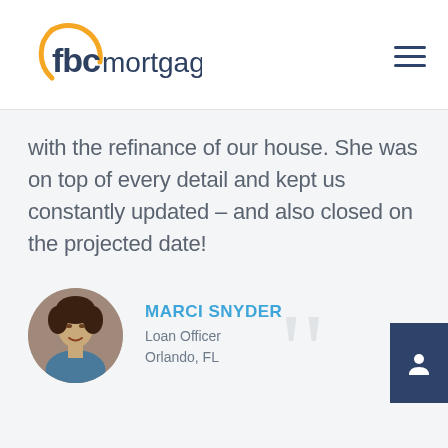[Figure (logo): FBC Mortgage logo with yellow arc and blue text]
with the refinance of our house. She was on top of every detail and kept us constantly updated – and also closed on the projected date!
[Figure (photo): Circular headshot photo of Marci Snyder, Loan Officer]
MARCI SNYDER
Loan Officer
Orlando, FL